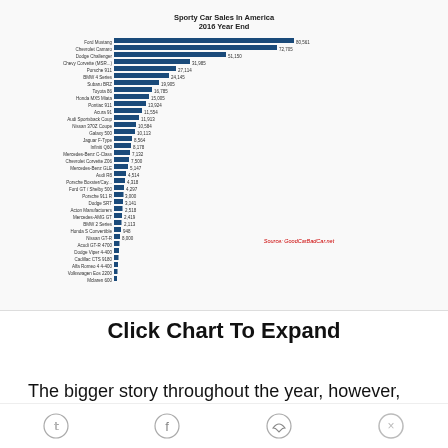[Figure (bar-chart): Horizontal bar chart showing sporty car sales in America for 2016 year end, with numerous car models listed on the y-axis and sales figures on the x-axis. Ford Mustang leads, followed by Chevrolet Camaro. Source: Good Car Bad Car.]
Click Chart To Expand
The bigger story throughout the year, however, was GM's inability to sell the newer, sixth-gen Camaro in numbers that resembled the fifth-gen Camaro's output. At least until incentives ramped up in the final